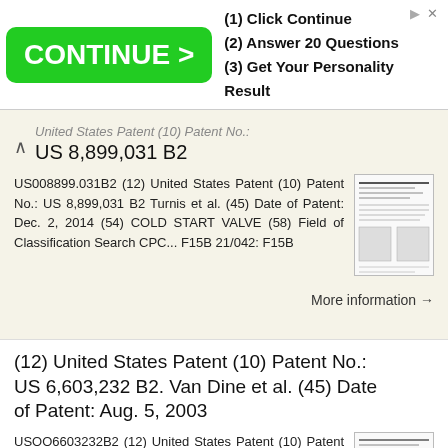[Figure (screenshot): Advertisement banner with green CONTINUE > button and steps: (1) Click Continue, (2) Answer 20 Questions, (3) Get Your Personality Result]
United States Patent (10) Patent No.: US 8,899,031 B2
US008899.031B2 (12) United States Patent (10) Patent No.: US 8,899,031 B2 Turnis et al. (45) Date of Patent: Dec. 2, 2014 (54) COLD START VALVE (58) Field of Classification Search CPC... F15B 21/042: F15B
More information →
(12) United States Patent (10) Patent No.: US 6,603,232 B2. Van Dine et al. (45) Date of Patent: Aug. 5, 2003
USOO6603232B2 (12) United States Patent (10) Patent No.: Van Dine et al. (45) Date of Patent: Aug. 5, 2003 (54) PERMANENT MAGNET RETAINING 4,745,319 A * 5/1988